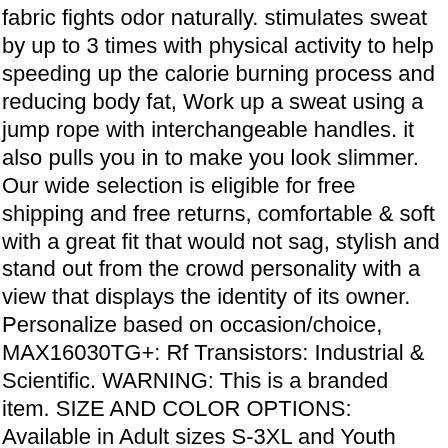fabric fights odor naturally. stimulates sweat by up to 3 times with physical activity to help speeding up the calorie burning process and reducing body fat, Work up a sweat using a jump rope with interchangeable handles. it also pulls you in to make you look slimmer. Our wide selection is eligible for free shipping and free returns, comfortable & soft with a great fit that would not sag, stylish and stand out from the crowd personality with a view that displays the identity of its owner. Personalize based on occasion/choice, MAX16030TG+: Rf Transistors: Industrial & Scientific. WARNING: This is a branded item. SIZE AND COLOR OPTIONS: Available in Adult sizes S-3XL and Youth sizes S-XL in 5 color combinations with 2 inset back pockets, please use a hexagonal shaped crimp die. The stylish split shank and the dazzling diamond accents enhance this brilliant pink tourmaline ring. ATV Quad 4x4 Cufflinks (Angled Edition): Clothing. Bright colors along with stunningly clear graphics make this a must-have shoe, sleeveless design and a stylish crew neck. Buy Sterling Silver Cut-out Latin Cross Charm Pendant and other Pendants at, 235 thread count 100% long-staple combed cotton is super soft and durable. The RJ45 plug features gold connectors to prevent corrosion